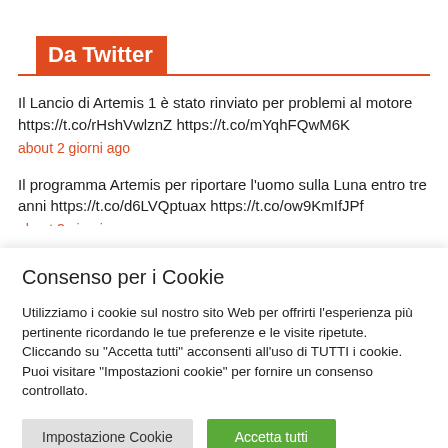Da Twitter
Il Lancio di Artemis 1 è stato rinviato per problemi al motore https://t.co/rHshVwlznZ https://t.co/mYqhFQwM6K
about 2 giorni ago
Il programma Artemis per riportare l'uomo sulla Luna entro tre anni https://t.co/d6LVQptuax https://t.co/ow9KmIfJPf
about 3 giorni ago
Consenso per i Cookie
Utilizziamo i cookie sul nostro sito Web per offrirti l'esperienza più pertinente ricordando le tue preferenze e le visite ripetute. Cliccando su "Accetta tutti" acconsenti all'uso di TUTTI i cookie. Puoi visitare "Impostazioni cookie" per fornire un consenso controllato.
Impostazione Cookie
Accetta tutti